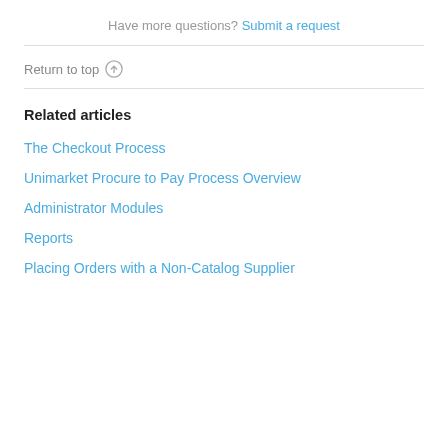Have more questions? Submit a request
Return to top ↑
Related articles
The Checkout Process
Unimarket Procure to Pay Process Overview
Administrator Modules
Reports
Placing Orders with a Non-Catalog Supplier